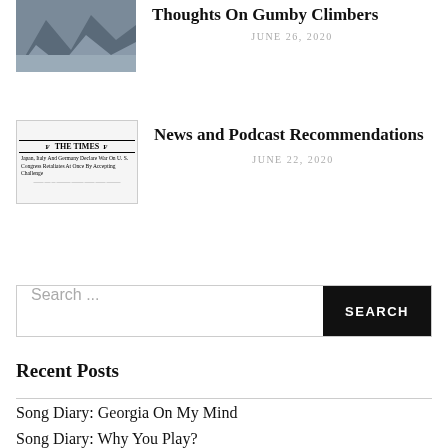[Figure (photo): Mountain rock face aerial photo thumbnail]
Thoughts On Gumby Climbers
JUNE 26, 2020
[Figure (photo): The Times newspaper front page thumbnail: Japan, Italy And Germany Declare War On U. S. Congress Retaliates At Once By Accepting Challenge]
News and Podcast Recommendations
JUNE 22, 2020
Search ...
Recent Posts
Song Diary: Georgia On My Mind
Song Diary: Why You Play?